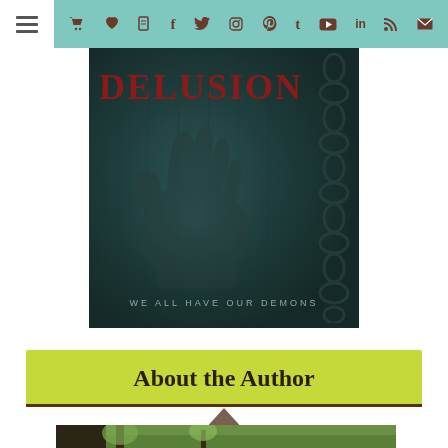[Figure (screenshot): Navigation bar with hamburger menu icon on white background, followed by teal/mint colored bar with social media and utility icons (cart, heart, book, Facebook, Twitter, Instagram, Pinterest, Tumblr, YouTube, LinkedIn, RSS, email) in brown color]
[Figure (photo): Book cover for 'DELUSION' with subtitle 'WE ALL HAVE OUR DEMONS'. Dark teal/green background with a shadowy hand pressed against glass and a chain on the right side. Title in dark red serif font.]
About the Author
[Figure (photo): Partial view of an outdoor photo showing trees and greenery, partially visible at the bottom of the page]